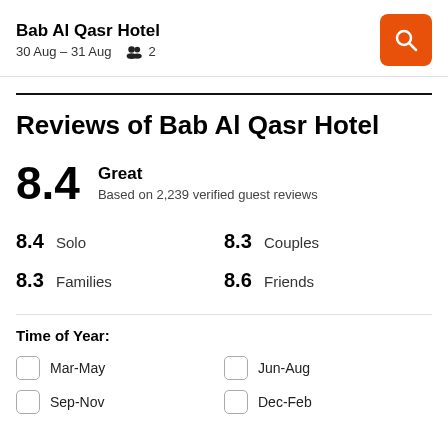Bab Al Qasr Hotel
30 Aug – 31 Aug   2
Reviews of Bab Al Qasr Hotel
8.4 Great
Based on 2,239 verified guest reviews
8.4 Solo   8.3 Couples
8.3 Families   8.6 Friends
Time of Year:
Mar-May
Jun-Aug
Sep-Nov
Dec-Feb